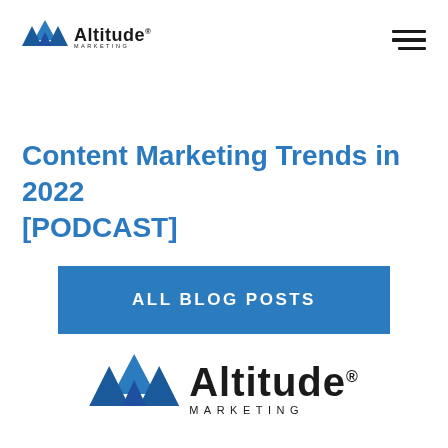Altitude Marketing [logo] [hamburger menu]
Content Marketing Trends in 2022 [PODCAST]
ALL BLOG POSTS
[Figure (logo): Altitude Marketing logo — mountain peaks icon with Altitude wordmark and MARKETING subtitle]